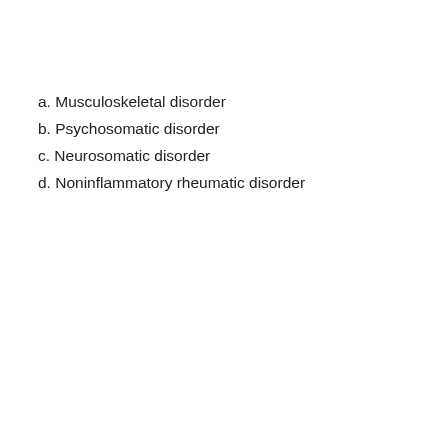a. Musculoskeletal disorder
b. Psychosomatic disorder
c. Neurosomatic disorder
d. Noninflammatory rheumatic disorder